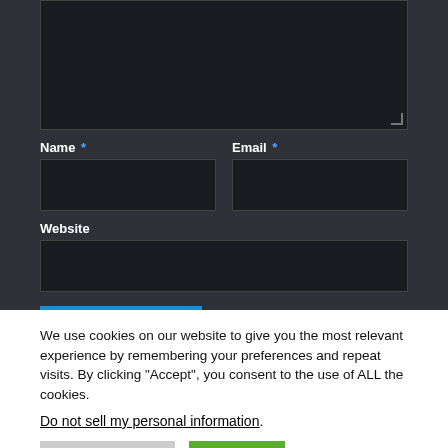[Figure (screenshot): Dark-themed comment form with textarea, Name field, Email field, Website field, Post Comment button, and Cancel reply link]
We use cookies on our website to give you the most relevant experience by remembering your preferences and repeat visits. By clicking “Accept”, you consent to the use of ALL the cookies.
Do not sell my personal information.
Cookie Settings
Accept